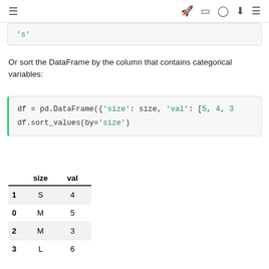≡  🚀 □ ⌓ ⬇ ≡
's'
Or sort the DataFrame by the column that contains categorical variables:
df = pd.DataFrame({'size': size, 'val': [5, 4, 3
df.sort_values(by='size')
|  | size | val |
| --- | --- | --- |
| 1 | S | 4 |
| 0 | M | 5 |
| 2 | M | 3 |
| 3 | L | 6 |